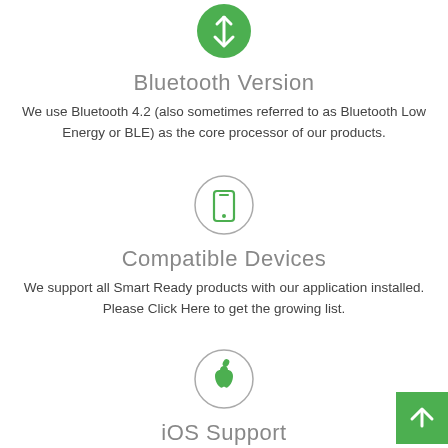[Figure (illustration): Green filled circle with white Bluetooth-style upward arrow icon at top of page]
Bluetooth Version
We use Bluetooth 4.2 (also sometimes referred to as Bluetooth Low Energy or BLE) as the core processor of our products.
[Figure (illustration): Circle outline with green smartphone/mobile phone icon inside]
Compatible Devices
We support all Smart Ready products with our application installed. Please Click Here to get the growing list.
[Figure (illustration): Circle outline with green Apple logo icon inside]
iOS Support
[Figure (illustration): Green square button with white upward chevron arrow, back-to-top button in bottom right]